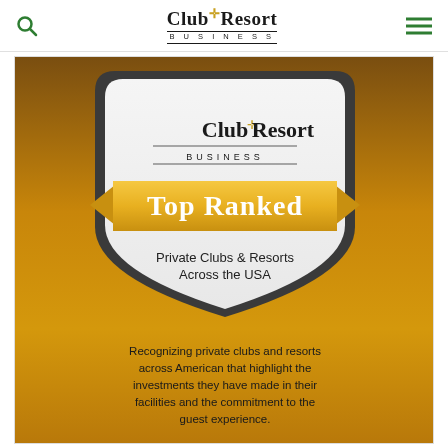Club+Resort Business
[Figure (infographic): Club+Resort Business Top Ranked badge for Private Clubs & Resorts Across the USA, on a gold/brown gradient background with a shield shape. Text reads: 'Top Ranked' on a gold banner, 'Private Clubs & Resorts Across the USA' inside the shield, and below: 'Recognizing private clubs and resorts across American that highlight the investments they have made in their facilities and the commitment to the guest experience.']